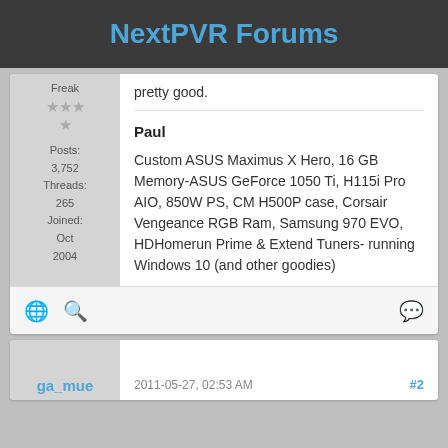NextPVR Forums
pretty good.
Posts: 3,752
Threads: 265
Joined: Oct 2004
Paul
Custom ASUS Maximus X Hero, 16 GB Memory-ASUS GeForce 1050 Ti, H115i Pro AIO, 850W PS, CM H500P case, Corsair Vengeance RGB Ram, Samsung 970 EVO, HDHomerun Prime & Extend Tuners- running Windows 10 (and other goodies)
ga_mue
2011-05-27, 02:53 AM
#2